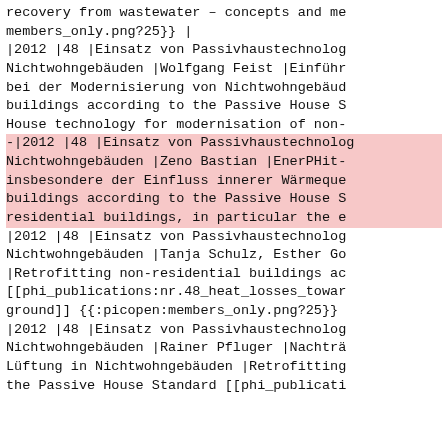recovery from wastewater – concepts and me
members_only.png?25}} |
|2012 |48 |Einsatz von Passivhaustechnolog
Nichtwohngebäuden |Wolfgang Feist |Einführ
bei der Modernisierung von Nichtwohngebäud
buildings according to the Passive House S
House technology for modernisation of non-
-|2012 |48 |Einsatz von Passivhaustechnolog
Nichtwohngebäuden |Zeno Bastian |EnerPHit-
insbesondere der Einfluss innerer Wärmeque
buildings according to the Passive House S
residential buildings, in particular the e
|2012 |48 |Einsatz von Passivhaustechnolog
Nichtwohngebäuden |Tanja Schulz, Esther Go
|Retrofitting non-residential buildings ac
[[phi_publications:nr.48_heat_losses_towar
ground]] {{:picopen:members_only.png?25}}
|2012 |48 |Einsatz von Passivhaustechnolog
Nichtwohngebäuden |Rainer Pfluger |Nachträ
Lüftung in Nichtwohngebäuden |Retrofitting
the Passive House Standard [[phi_publicati